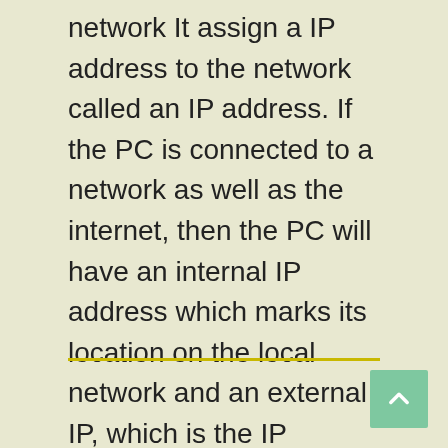network It assign a IP address to the network called an IP address. If the PC is connected to a network as well as the internet, then the PC will have an internal IP address which marks its location on the local network and an external IP, which is the IP address of your internet connection.